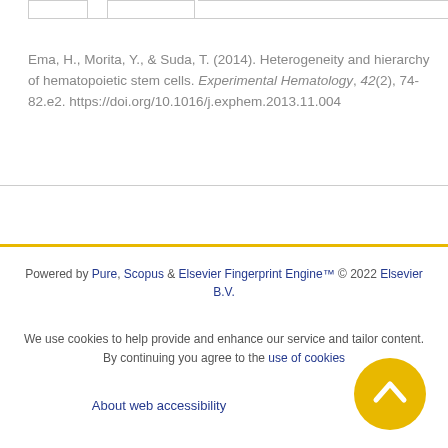Ema, H., Morita, Y., & Suda, T. (2014). Heterogeneity and hierarchy of hematopoietic stem cells. Experimental Hematology, 42(2), 74-82.e2. https://doi.org/10.1016/j.exphem.2013.11.004
Powered by Pure, Scopus & Elsevier Fingerprint Engine™ © 2022 Elsevier B.V.
We use cookies to help provide and enhance our service and tailor content. By continuing you agree to the use of cookies
About web accessibility